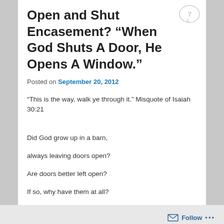Open and Shut Encasement? “When God Shuts A Door, He Opens A Window.”
Posted on September 20, 2012
“This is the way, walk ye through it.” Misquote of Isaiah 30:21
Did God grow up in a barn,
always leaving doors open?
Are doors better left open?
If so, why have them at all?
Follow ...